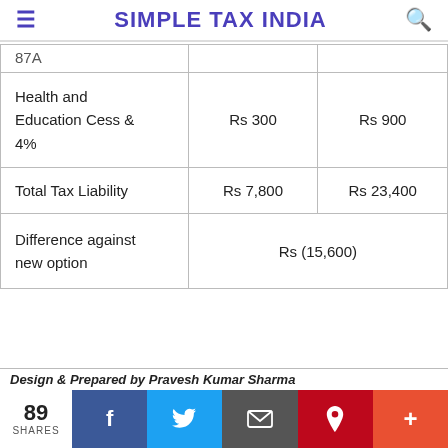SIMPLE TAX INDIA
|  |  |  |
| --- | --- | --- |
| 87A |  |  |
| Health and Education Cess & 4% | Rs 300 | Rs 900 |
| Total Tax Liability | Rs 7,800 | Rs 23,400 |
| Difference against new option | Rs (15,600) |  |
Design & Prepared by Pravesh Kumar Sharma
89 SHARES | Facebook | Twitter | Email | Pinterest | More